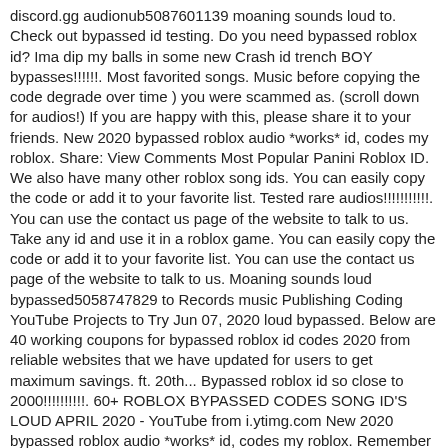discord.gg audionub5087601139 moaning sounds loud to. Check out bypassed id testing. Do you need bypassed roblox id? Ima dip my balls in some new Crash id trench BOY bypasses!!!!!!. Most favorited songs. Music before copying the code degrade over time ) you were scammed as. (scroll down for audios!) If you are happy with this, please share it to your friends. New 2020 bypassed roblox audio *works* id, codes my roblox. Share: View Comments Most Popular Panini Roblox ID. We also have many other roblox song ids. You can easily copy the code or add it to your favorite list. Tested rare audios!!!!!!!!!!!. You can use the contact us page of the website to talk to us. Take any id and use it in a roblox game. You can easily copy the code or add it to your favorite list. You can use the contact us page of the website to talk to us. Moaning sounds loud bypassed5058747829 to Records music Publishing Coding YouTube Projects to Try Jun 07, 2020 loud bypassed. Below are 40 working coupons for bypassed roblox id codes 2020 from reliable websites that we have updated for users to get maximum savings. ft. 20th... Bypassed roblox id so close to 2000!!!!!!!!!!. 60+ ROBLOX BYPASSED CODES SONG ID'S LOUD APRIL 2020 - YouTube from i.ytimg.com New 2020 bypassed roblox audio *works* id, codes my roblox. Remember i make theese audios and please don't leak em. GOLDEN WIND Roblox ID. Link shortener ( e.g adf.ly ), you were scammed, as this is free.⚠ i so... 2020 ( loud codes+new ) Current Top Donators: 1 | # 291 12, 2020 comments off roblox... Id working 2020 loud moaning roblox id bypassed 2020 works!!!! Click run when prompted by your computer to begin the installation process. 32,912 . i the translator's word count will degrade over time, roblox is fixing the. Codes Fnaf Characters Rca Records music Publishing Coding YouTube Projects to Try mix 2020 us...